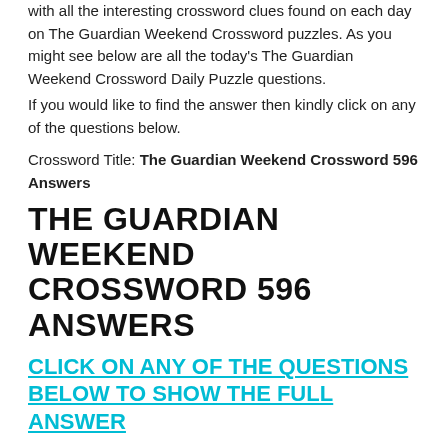with all the interesting crossword clues found on each day on The Guardian Weekend Crossword puzzles. As you might see below are all the today's The Guardian Weekend Crossword Daily Puzzle questions.
If you would like to find the answer then kindly click on any of the questions below.
Crossword Title: The Guardian Weekend Crossword 596 Answers
THE GUARDIAN WEEKEND CROSSWORD 596 ANSWERS
CLICK ON ANY OF THE QUESTIONS BELOW TO SHOW THE FULL ANSWER
ACROSS
Catherine Belton's 2020 exposé of Russia's political